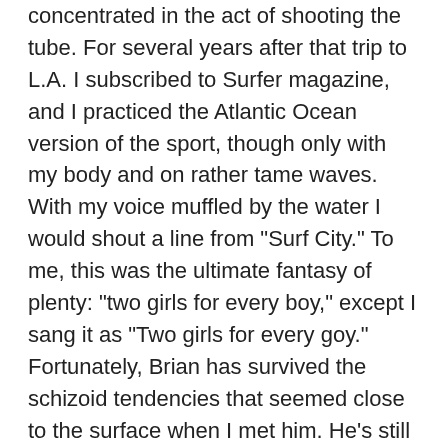concentrated in the act of shooting the tube. For several years after that trip to L.A. I subscribed to Surfer magazine, and I practiced the Atlantic Ocean version of the sport, though only with my body and on rather tame waves. With my voice muffled by the water I would shout a line from "Surf City." To me, this was the ultimate fantasy of plenty: "two girls for every boy," except I sang it as "Two girls for every goy." Fortunately, Brian has survived the schizoid tendencies that seemed close to the surface when I met him. He's still performing and writing songs. But it was his emotional battle and the intersection of that struggle with the acid-dosed aesthetic of the sixties that produced his most astonishing music. ” —